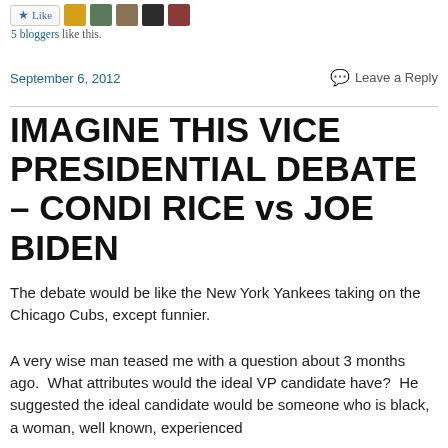[Figure (other): Like button with blue star icon and five blogger avatar thumbnails]
5 bloggers like this.
September 6, 2012
Leave a Reply
IMAGINE THIS VICE PRESIDENTIAL DEBATE – CONDI RICE vs JOE BIDEN
The debate would be like the New York Yankees taking on the Chicago Cubs, except funnier.
A very wise man teased me with a question about 3 months ago.  What attributes would the ideal VP candidate have?  He suggested the ideal candidate would be someone who is black, a woman, well known, experienced